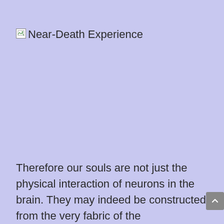[Figure (other): Broken image placeholder with alt text 'Near-Death Experience']
Therefore our souls are not just the physical interaction of neurons in the brain. They may indeed be constructed from the very fabric of the